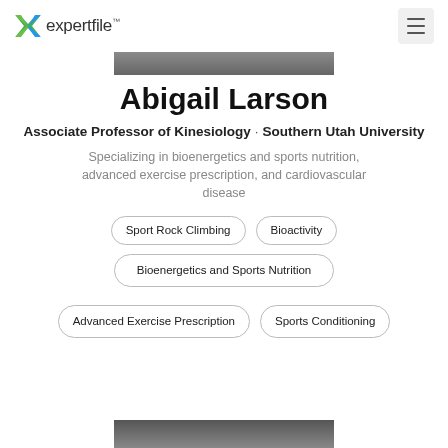expertfile™
[Figure (photo): Cropped photo of Abigail Larson at the top of the page]
Abigail Larson
Associate Professor of Kinesiology · Southern Utah University
Specializing in bioenergetics and sports nutrition, advanced exercise prescription, and cardiovascular disease
Sport Rock Climbing
Bioactivity
Bioenergetics and Sports Nutrition
Advanced Exercise Prescription
Sports Conditioning
[Figure (photo): Cropped photo of Abigail Larson at the bottom of the page]